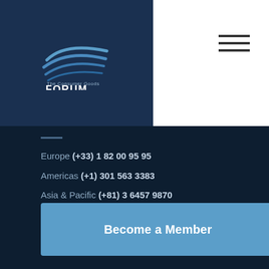[Figure (logo): The Consumer Goods Forum logo with blue wave lines and text FORUM on dark navy background]
Europe (+33) 1 82 00 95 95
Americas (+1) 301 563 3383
Asia & Pacific (+81) 3 6457 9870
MEMBERSHIP
Members Benefits
Become a Member